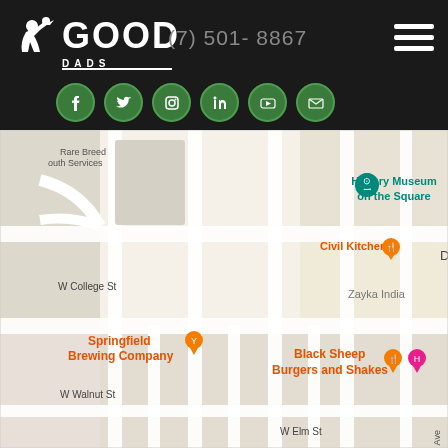[Figure (logo): Good Dads logo with silhouette of man and child, white text GOOD DADS]
(7) 501- 8867
[Figure (illustration): Hamburger menu icon (three horizontal white lines)]
[Figure (illustration): Six green circular social media icons: Facebook, Twitter, Instagram, LinkedIn, YouTube, Email]
[Figure (map): Google Maps screenshot showing Springfield MO area with History Museum on the Square, Civil Kitchen, Zayka India, Springfield Brewing Company, Black Sheep Burgers and Shakes marked. Streets include W College St, W Walnut St, W Elm St, S Main Ave, S Market Ave, S Campbell Ave, S Patton Ave, South Ave, S Robberson Ave.]